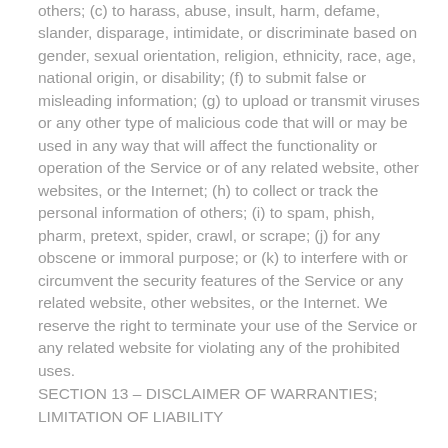others; (c) to harass, abuse, insult, harm, defame, slander, disparage, intimidate, or discriminate based on gender, sexual orientation, religion, ethnicity, race, age, national origin, or disability; (f) to submit false or misleading information; (g) to upload or transmit viruses or any other type of malicious code that will or may be used in any way that will affect the functionality or operation of the Service or of any related website, other websites, or the Internet; (h) to collect or track the personal information of others; (i) to spam, phish, pharm, pretext, spider, crawl, or scrape; (j) for any obscene or immoral purpose; or (k) to interfere with or circumvent the security features of the Service or any related website, other websites, or the Internet. We reserve the right to terminate your use of the Service or any related website for violating any of the prohibited uses.
SECTION 13 – DISCLAIMER OF WARRANTIES; LIMITATION OF LIABILITY